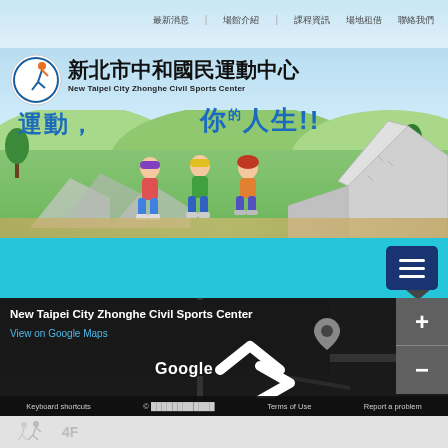[Figure (screenshot): Website navigation bar with Chinese menu items]
[Figure (screenshot): New Taipei City Zhonghe Civil Sports Center website banner with logo, Chinese and English title, slogan '運動，你的人生!!', and cartoon children rollerblading with illustrated background]
[Figure (screenshot): Cyan navigation bar with hamburger menu button]
[Figure (screenshot): Google Maps embedded view showing location of New Taipei City Zhonghe Civil Sports Center with place info panel, zoom controls, Google logo, map arrows, keyboard shortcuts and terms bar]
[Figure (screenshot): Gray footer area with running figure icon and '4F' text]